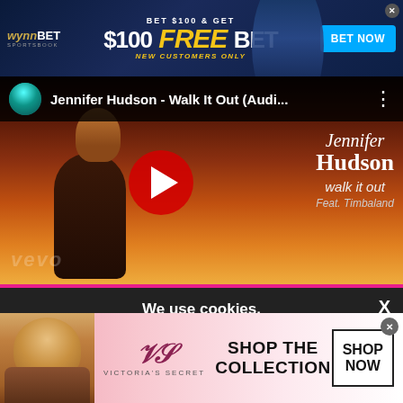[Figure (screenshot): WynnBET Sportsbook advertisement banner: 'BET $100 & GET $100 FREE BET - NEW CUSTOMERS ONLY' with BET NOW button and football player image]
[Figure (screenshot): YouTube video player showing Jennifer Hudson - Walk It Out (Audi... with Vevo channel, play button overlay, artist image with text 'Jennifer Hudson walk it out Feat. Timbaland']
[Figure (screenshot): Cookie consent popup: 'We use cookies. Yes, we use cookies to ensure we give you the best experience using this website. By closing this box or clicking on the continue button, you agree to our terms of use and consent to the use of']
[Figure (screenshot): Victoria's Secret advertisement: 'SHOP THE COLLECTION' with SHOP NOW button, model photo, and Victoria's Secret logo]